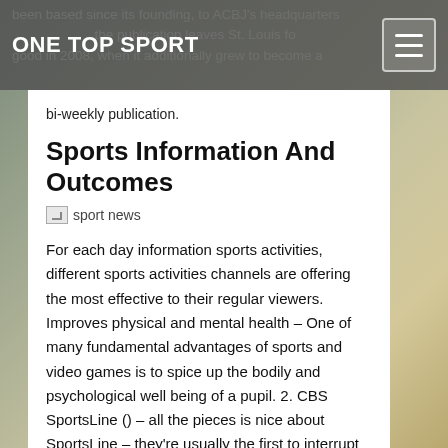ONE TOP SPORT
been based since its founding, to ACBJ's headquarters the publication leaves St. Louis for good in 2008, when it additionally grew to become a bi-weekly publication.
Sports Information And Outcomes
[Figure (other): Broken image placeholder labeled 'sport news']
For each day information sports activities, different sports activities channels are offering the most effective to their regular viewers. Improves physical and mental health – One of many fundamental advantages of sports and video games is to spice up the bodily and psychological well being of a pupil. 2. CBS SportsLine () – all the pieces is nice about SportsLine – they're usually the first to interrupt